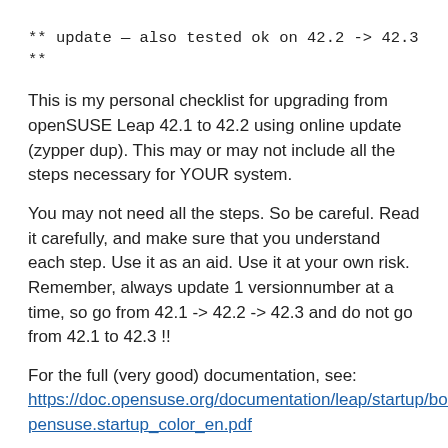** update — also tested ok on 42.2 -> 42.3 **
This is my personal checklist for upgrading from openSUSE Leap 42.1 to 42.2 using online update (zypper dup). This may or may not include all the steps necessary for YOUR system.
You may not need all the steps. So be careful. Read it carefully, and make sure that you understand each step. Use it as an aid. Use it at your own risk.
Remember, always update 1 versionnumber at a time, so go from 42.1 -> 42.2 -> 42.3 and do not go from 42.1 to 42.3 !!
For the full (very good) documentation, see:
https://doc.opensuse.org/documentation/leap/startup/book.opensuse.startup_color_en.pdf
Preparations: